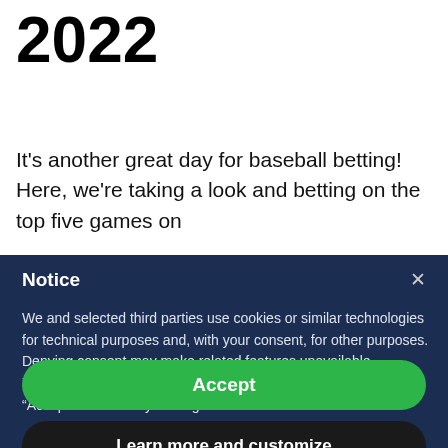2022
It’s another great day for baseball betting! Here, we’re taking a look and betting on the top five games on
Notice
We and selected third parties use cookies or similar technologies for technical purposes and, with your consent, for other purposes. Denying consent may make related features unavailable.
You can consent to the use of such technologies by using the “Accept” button or by closing this notice.
Accept
Learn more and customize